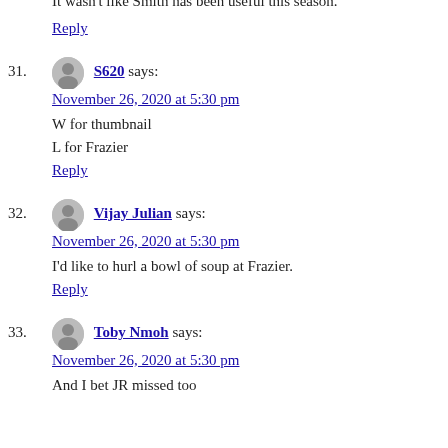November 26, 2020 at 5:30 pm
It wasn't like Smith has been useful this season.
Reply
S620 says: November 26, 2020 at 5:30 pm
W for thumbnail
L for Frazier
Reply
Vijay Julian says: November 26, 2020 at 5:30 pm
I'd like to hurl a bowl of soup at Frazier.
Reply
Toby Nmoh says: November 26, 2020 at 5:30 pm
And I bet JR missed too